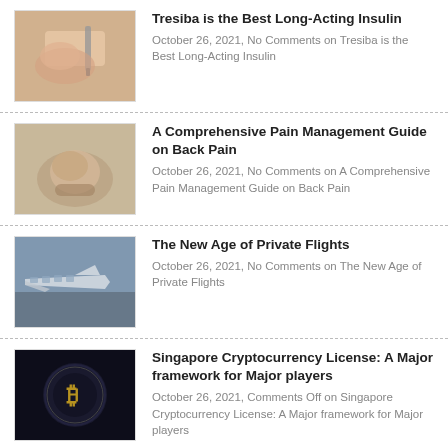Tresiba is the Best Long-Acting Insulin
October 26, 2021, No Comments on Tresiba is the Best Long-Acting Insulin
A Comprehensive Pain Management Guide on Back Pain
October 26, 2021, No Comments on A Comprehensive Pain Management Guide on Back Pain
The New Age of Private Flights
October 26, 2021, No Comments on The New Age of Private Flights
Singapore Cryptocurrency License: A Major framework for Major players
October 26, 2021, Comments Off on Singapore Cryptocurrency License: A Major framework for Major players
3 Reasons Exercise is Key to Your Health
October 21, 2021, No Comments on 3 Reasons Exercise is Key to Your Health
What Has Changed in the World Since An...